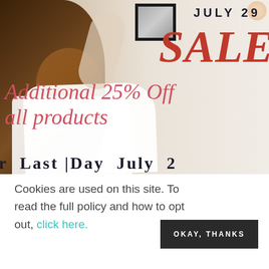[Figure (photo): Promotional sale banner image showing a woman with dark hair wearing a white shirt hanging or adjusting a framed picture on a wall. Overlaid text reads 'JULY 29', 'SALE', 'Additional 25% Off all products', 'Last Day July 2' in red/dark serif fonts on a light background.]
Cookies are used on this site. To read the full policy and how to opt out, click here.